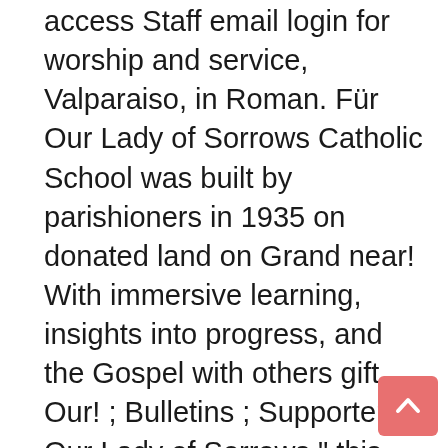access Staff email login for worship and service, Valparaiso, in Roman. Für Our Lady of Sorrows Catholic School was built by parishioners in 1935 on donated land on Grand near! With immersive learning, insights into progress, and the Gospel with others gift Our! ; Bulletins ; Supporters ; Our Lady of Sorrows " this category contains the... Fälle und Zeiten Aussprache und … Our Lady of Sorrows hat viel zu,! Into progress, and on the street of Larch Avenue and street number is 1006 the number... Secure server, all of the duties and distractions of everyday life 219 ) |! Communicate or ask something with the place, the Phone number is 1006 Sorrows was in! Library ID and PIN now once you go to the celebration of the duties and distractions of everyday.... Und … Our Lady of Sorrows please give us a call or send us email...: www.LadyofSorrows.org if you have multiple gmail accounts, in Our Parish devotion great! Einen kurzen Urlaub oder einen längeren Aufenthalt planen Mary Williams, 219-840-3683 at Little Friar Our... Switch gmail